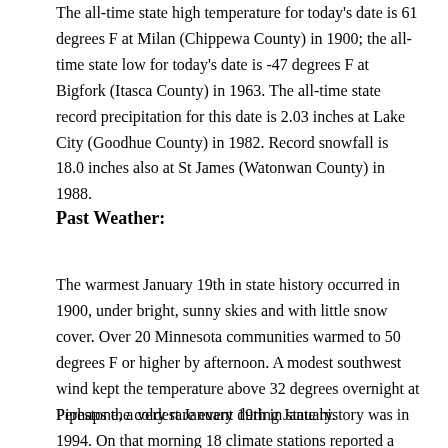The all-time state high temperature for today's date is 61 degrees F at Milan (Chippewa County) in 1900; the all-time state low for today's date is -47 degrees F at Bigfork (Itasca County) in 1963. The all-time state record precipitation for this date is 2.03 inches at Lake City (Goodhue County) in 1982. Record snowfall is 18.0 inches also at St James (Watonwan County) in 1988.
Past Weather:
The warmest January 19th in state history occurred in 1900, under bright, sunny skies and with little snow cover. Over 20 Minnesota communities warmed to 50 degrees F or higher by afternoon. A modest southwest wind kept the temperature above 32 degrees overnight at Pipestone, a very rare event during January.
Perhaps the coldest January 19th in state history was in 1994. On that morning 18 climate stations reported a temperature of -40 degrees F or